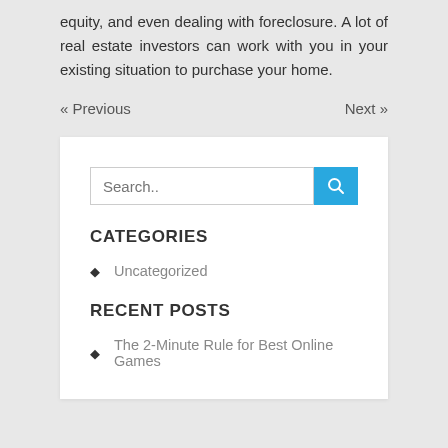equity, and even dealing with foreclosure. A lot of real estate investors can work with you in your existing situation to purchase your home.
« Previous    Next »
[Figure (screenshot): Search bar with blue search button]
CATEGORIES
Uncategorized
RECENT POSTS
The 2-Minute Rule for Best Online Games